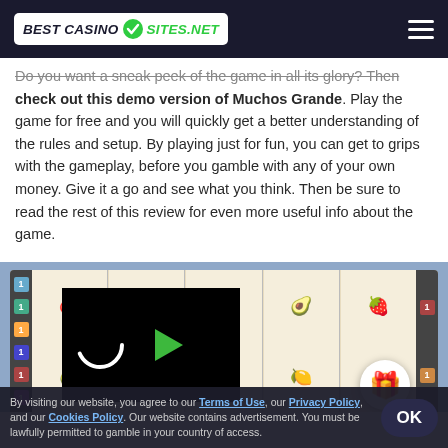BEST CASINO SITES.NET
Do you want a sneak peek of the game in all its glory? Then check out this demo version of Muchos Grande. Play the game for free and you will quickly get a better understanding of the rules and setup. By playing just for fun, you can get to grips with the gameplay, before you gamble with any of your own money. Give it a go and see what you think. Then be sure to read the rest of this review for even more useful info about the game.
[Figure (screenshot): Muchos Grande slot game demo screenshot showing fruit-themed slot reels with a video play button overlay and loading spinner. Fruit symbols including pineapple, avocado, mango, and strawberry visible on the reels.]
By visiting our website, you agree to our Terms of Use, our Privacy Policy, and our Cookies Policy. Our website contains advertisement. You must be lawfully permitted to gamble in your country of access.